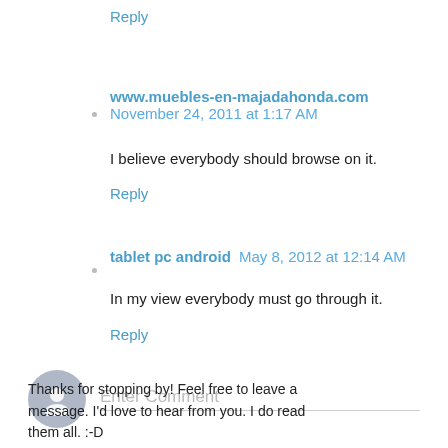Reply
www.muebles-en-majadahonda.com November 24, 2011 at 1:17 AM
I believe everybody should browse on it.
Reply
tablet pc android May 8, 2012 at 12:14 AM
In my view everybody must go through it.
Reply
[Figure (other): User avatar placeholder circle with person silhouette icon and Enter Comment input field]
Thanks for stopping by! Feel free to leave a message. I'd love to hear from you. I do read them all. :-D